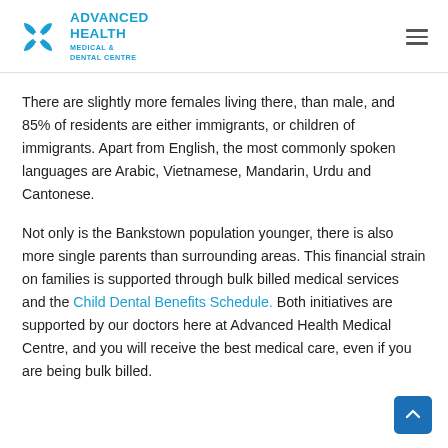ADVANCED HEALTH MEDICAL & DENTAL CENTRE
There are slightly more females living there, than male, and 85% of residents are either immigrants, or children of immigrants. Apart from English, the most commonly spoken languages are Arabic, Vietnamese, Mandarin, Urdu and Cantonese.
Not only is the Bankstown population younger, there is also more single parents than surrounding areas. This financial strain on families is supported through bulk billed medical services and the Child Dental Benefits Schedule. Both initiatives are supported by our doctors here at Advanced Health Medical Centre, and you will receive the best medical care, even if you are being bulk billed.